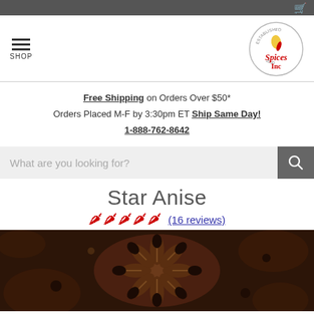Top navigation bar with cart icon
[Figure (logo): Spices Inc circular logo with chili pepper mascot, established 2000]
Free Shipping on Orders Over $50* Orders Placed M-F by 3:30pm ET Ship Same Day! 1-888-762-8642
[Figure (screenshot): Search bar with placeholder text 'What are you looking for?' and a dark search button]
Star Anise
★★★★★ (16 reviews)
[Figure (photo): Close-up photo of dried star anise spice pods with dark brown color]